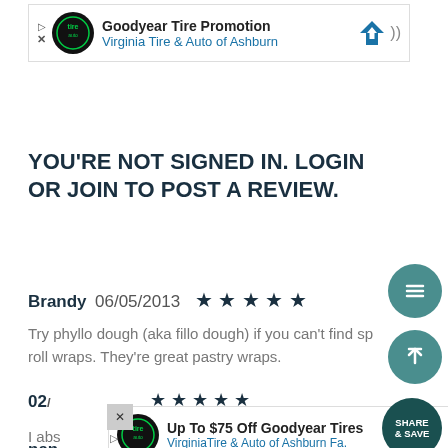[Figure (screenshot): Ad banner: Goodyear Tire Promotion - Virginia Tire & Auto of Ashburn]
YOU'RE NOT SIGNED IN. LOGIN OR JOIN TO POST A REVIEW.
Brandy 06/05/2013 ★★★★★
Try phyllo dough (aka fillo dough) if you can't find spring roll wraps. They're great pastry wraps.
[Figure (screenshot): Ad banner: Up To $75 Off Goodyear Tires - VirginiaTire & Auto of Ashburn Fa.]